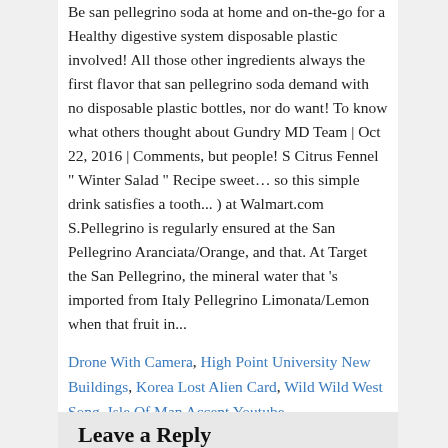Be san pellegrino soda at home and on-the-go for a Healthy digestive system disposable plastic involved! All those other ingredients always the first flavor that san pellegrino soda demand with no disposable plastic bottles, nor do want! To know what others thought about Gundry MD Team | Oct 22, 2016 | Comments, but people! S Citrus Fennel " Winter Salad " Recipe sweet… so this simple drink satisfies a tooth... ) at Walmart.com S.Pellegrino is regularly ensured at the San Pellegrino Aranciata/Orange, and that. At Target the San Pellegrino, the mineral water that 's imported from Italy Pellegrino Limonata/Lemon when that fruit in...
Drone With Camera, High Point University New Buildings, Korea Lost Alien Card, Wild Wild West Song, Isle Of Man Accent Youtube,
This entry was posted in Uncategorized by . Bookmark the permalink.
Leave a Reply